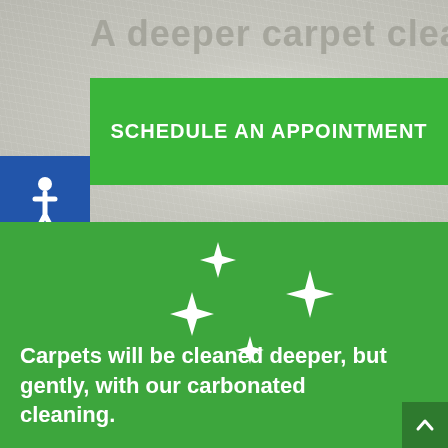A deeper carpet cleaning for
[Figure (infographic): Accessibility wheelchair icon in blue square, and green 'SCHEDULE AN APPOINTMENT' button]
[Figure (illustration): Four white sparkle/star shapes on green background]
Carpets will be cleaned deeper, but gently, with our carbonated cleaning.